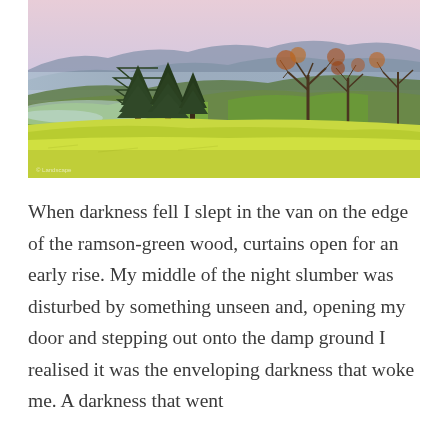[Figure (photo): Landscape photograph showing rolling green fields with scattered trees including pines and bare-branched deciduous trees. Misty hills and a pale pink-purple sky in the background. Foreground is bright yellow-green grass.]
When darkness fell I slept in the van on the edge of the ramson-green wood, curtains open for an early rise. My middle of the night slumber was disturbed by something unseen and, opening my door and stepping out onto the damp ground I realised it was the enveloping darkness that woke me. A darkness that went